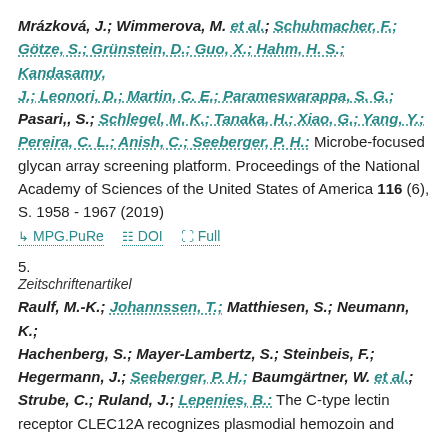Mrázková, J.; Wimmerova, M. et al.; Schuhmacher, F.; Götze, S.; Grünstein, D.; Guo, X.; Hahm, H. S.; Kandasamy, J.; Leonori, D.; Martin, C. E.; Parameswarappa, S. G.; Pasari,, S.; Schlegel, M. K.; Tanaka, H.; Xiao, G.; Yang, Y.; Pereira, C. L.; Anish, C.; Seeberger, P. H.: Microbe-focused glycan array screening platform. Proceedings of the National Academy of Sciences of the United States of America 116 (6), S. 1958 - 1967 (2019)
MPG.PuRe  DOI  Full
5.
Zeitschriftenartikel
Raulf, M.-K.; Johannssen, T.; Matthiesen, S.; Neumann, K.; Hachenberg, S.; Mayer-Lambertz, S.; Steinbeis, F.; Hegermann, J.; Seeberger, P. H.; Baumgärtner, W. et al.; Strube, C.; Ruland, J.; Lepenies, B.: The C-type lectin receptor CLEC12A recognizes plasmodial hemozoin and